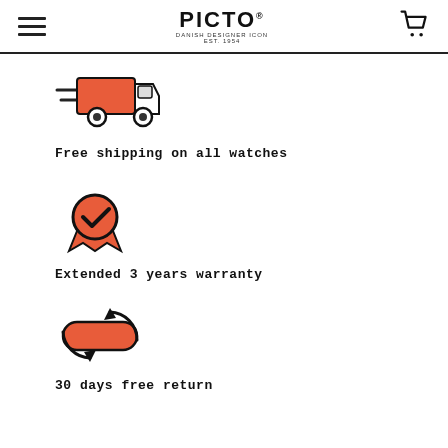PICTO — DANISH DESIGNER ICON, EST. 1954
[Figure (illustration): Delivery truck icon with orange/red body and speed lines, black outline style]
Free shipping on all watches
[Figure (illustration): Award ribbon/medal icon with orange/red circle, checkmark inside, and ribbon tails below]
Extended 3 years warranty
[Figure (illustration): Circular arrow/return icon with orange/red pill shape and arrows indicating a return loop]
30 days free return